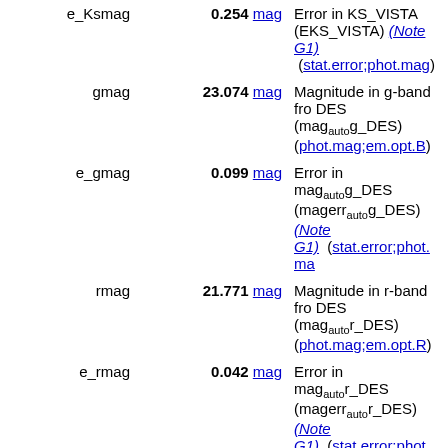| Name | Value | Description |
| --- | --- | --- |
| e_Ksmag | 0.254 mag | Error in KS_VISTA (EKS_VISTA) (Note G1) (stat.error;phot.mag) |
| gmag | 23.074 mag | Magnitude in g-band from DES (magauto g_DES) (phot.mag;em.opt.B) |
| e_gmag | 0.099 mag | Error in magauto g_DES (magerrauto g_DES) (Note G1) (stat.error;phot.mag) |
| rmag | 21.771 mag | Magnitude in r-band from DES (magauto r_DES) (phot.mag;em.opt.R) |
| e_rmag | 0.042 mag | Error in magauto r_DES (magerrauto r_DES) (Note G1) (stat.error;phot.mag) |
| imag | 20.930 mag | Magnitude in i-band from DES (magauto i_DES) (phot.mag;em.opt.I) |
| e_imag | 0.034 mag | Error in magauto i_DES (magerrauto i_DES) (Note G1) (stat.error;phot.mag) |
| zmag | 20.434 mag | Magnitude in z-band from DES |